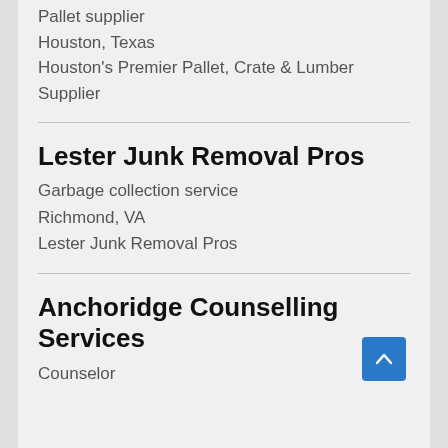Pallet supplier
Houston, Texas
Houston's Premier Pallet, Crate & Lumber Supplier
Lester Junk Removal Pros
Garbage collection service
Richmond, VA
Lester Junk Removal Pros
Anchoridge Counselling Services
Counselor